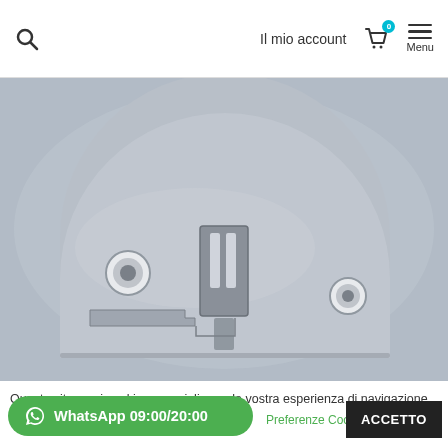Il mio account  Menu
[Figure (photo): A semicircular metal sewing machine needle plate (throat plate) in brushed stainless steel, featuring cutouts for the needle bar and feed dog, with two circular mounting holes and a rectangular slot area.]
Questo sito usa i cookies per migliorare la vostra esperienza di navigazione. Puoi anche
WhatsApp 09:00/20:00
Preferenze Cookies
ACCETTO